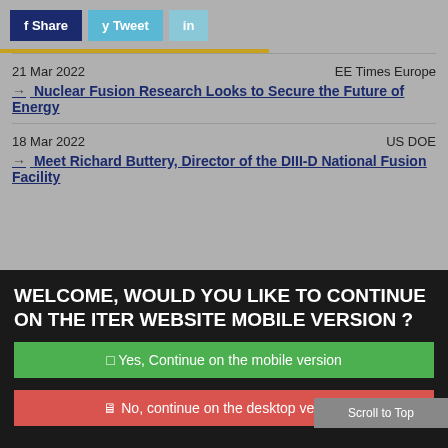f Share  y Tweet  in
21 Mar 2022    EE Times Europe
→ Nuclear Fusion Research Looks to Secure the Future of Energy
18 Mar 2022    US DOE
→ Meet Richard Buttery, Director of the DIII-D National Fusion Facility
WELCOME, WOULD YOU LIKE TO CONTINUE ON THE ITER WEBSITE MOBILE VERSION ?
□ Yes, Continue on the mobile version
🖥 No, continue on the desktop version
Scroll to Top